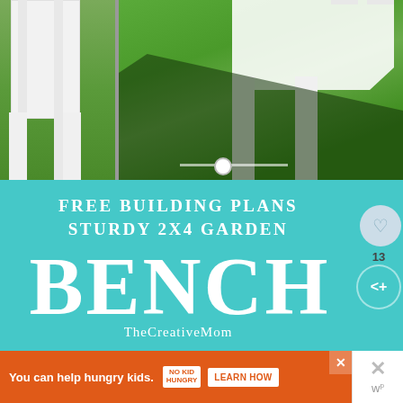[Figure (photo): Two photos of a white wooden garden bench on green grass, shown in a split/slider view. Left shows a close-up of the bench leg area, right shows the full bench with shadow on lawn.]
[Figure (infographic): Teal/turquoise banner reading 'FREE BUILDING PLANS STURDY 2X4 GARDEN BENCH' with 'TheCreativeMom' credit at the bottom in white serif text.]
IF YOU LIKED THIS PROJECT, YOU MIGHT LIKE SOME OF MY
[Figure (infographic): Orange advertisement bar reading 'You can help hungry kids.' with No Kid Hungry logo and 'LEARN HOW' button.]